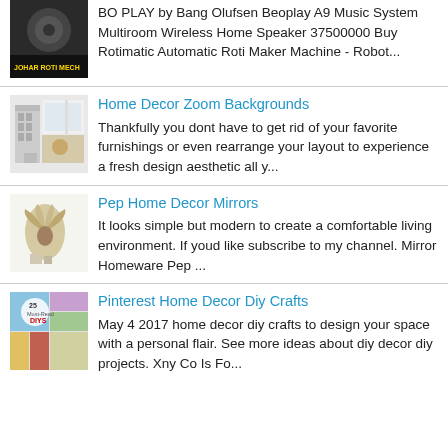BO PLAY by Bang Olufsen Beoplay A9 Music System Multiroom Wireless Home Speaker 37500000 Buy Rotimatic Automatic Roti Maker Machine - Robot...
Home Decor Zoom Backgrounds
Thankfully you dont have to get rid of your favorite furnishings or even rearrange your layout to experience a fresh design aesthetic all y...
Pep Home Decor Mirrors
It looks simple but modern to create a comfortable living environment. If youd like subscribe to my channel. Mirror Homeware Pep ...
Pinterest Home Decor Diy Crafts
May 4 2017 home decor diy crafts to design your space with a personal flair. See more ideas about diy decor diy projects. Xny Co Is Fo...